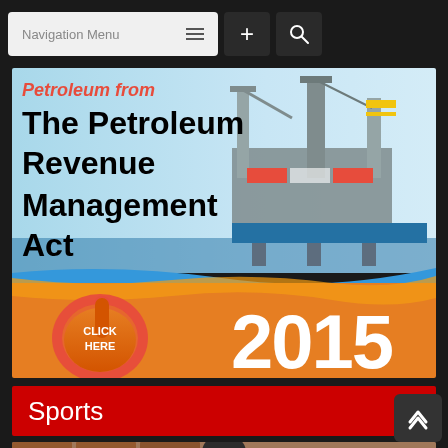Navigation Menu
[Figure (infographic): Petroleum Revenue Management Act 2015 promotional banner with offshore oil rig image, orange wave design, click here hand pointer, and year 2015 in large white text]
Sports
[Figure (photo): A person wearing a yellow 'FRIENDSHIP' vest standing outdoors near brick buildings with greenery]